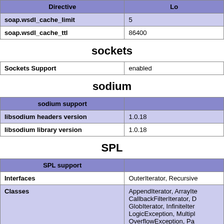| Directive | Lo... |
| --- | --- |
| soap.wsdl_cache_limit | 5 |
| soap.wsdl_cache_ttl | 86400 |
sockets
| Sockets Support | enabled |
| --- | --- |
sodium
| sodium support |  |
| --- | --- |
| libsodium headers version | 1.0.18 |
| libsodium library version | 1.0.18 |
SPL
| SPL support |  |
| --- | --- |
| Interfaces | OuterIterator, Recursive... |
| Classes | AppendIterator, ArrayIte...
CallbackFilterIterator, D...
GlobIterator, InfiniteIter...
LogicException, Multipl...
OverflowException, Pa... |